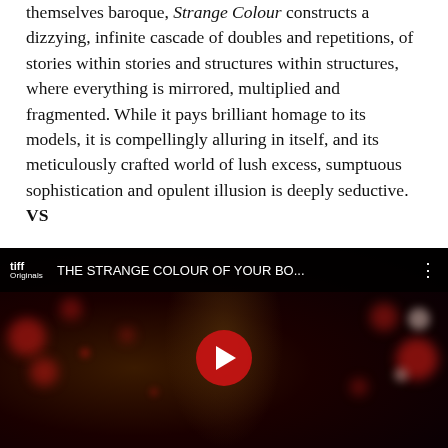themselves baroque, Strange Colour constructs a dizzying, infinite cascade of doubles and repetitions, of stories within stories and structures within structures, where everything is mirrored, multiplied and fragmented. While it pays brilliant homage to its models, it is compellingly alluring in itself, and its meticulously crafted world of lush excess, sumptuous sophistication and opulent illusion is deeply seductive. VS
Watch the teaser trailer for The Strange Colour of Your Body's Tears:
[Figure (screenshot): YouTube video embed thumbnail for 'THE STRANGE COLOUR OF YOUR BO...' from TIFF Originals channel. Dark cinematic background with red bokeh lights and a film still. Large red YouTube play button centered.]